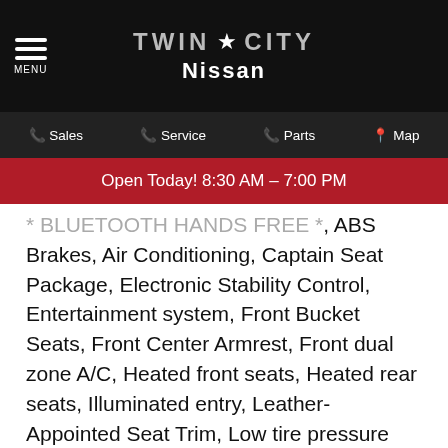Twin City Nissan — MENU | Sales | Service | Parts | Map
Open Today! 8:30 AM – 7:00 PM
BLUETOOTH HANDS FREE *, ABS Brakes, Air Conditioning, Captain Seat Package, Electronic Stability Control, Entertainment system, Front Bucket Seats, Front Center Armrest, Front dual zone A/C, Heated front seats, Heated rear seats, Illuminated entry, Leather-Appointed Seat Trim, Low tire pressure warning, Navigation System, Platinum Reserve Package, Power door mirrors, Power driver seat, Power Liftgate, Power moonroof, Power passenger seat, Power windows, Radio data system, Radio: Bose AM/FM/SXM/CD/MP3/HD Radio, Rear air